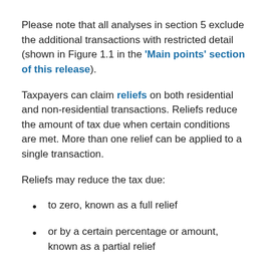Please note that all analyses in section 5 exclude the additional transactions with restricted detail (shown in Figure 1.1 in the 'Main points' section of this release).
Taxpayers can claim reliefs on both residential and non-residential transactions. Reliefs reduce the amount of tax due when certain conditions are met. More than one relief can be applied to a single transaction.
Reliefs may reduce the tax due:
to zero, known as a full relief
or by a certain percentage or amount, known as a partial relief